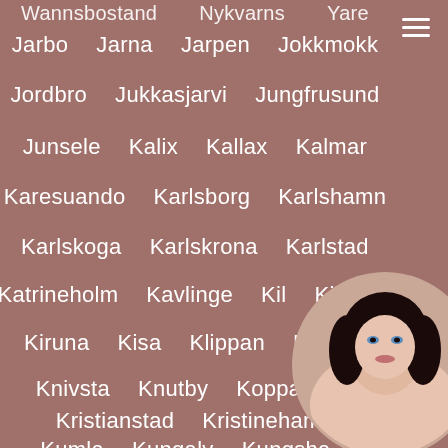Jarbo  Jarna  Jarpen  Jokkmokk
Jordbro  Jukkasjarvi  Jungfrusund
Junsele  Kalix  Kallax  Kalmar
Karesuando  Karlsborg  Karlshamn
Karlskoga  Karlskrona  Karlstad
Katrineholm  Kavlinge  Kil  Kinnarp
Kiruna  Kisa  Klippan  Klovsjo
Knivsta  Knutby  Kopparberg
Kristianstad  Kristinehamn
Kumla  Kungalv  Kungshamn
[Figure (photo): Circular cropped photo of a woman with dark hair, partially visible in bottom-right corner]